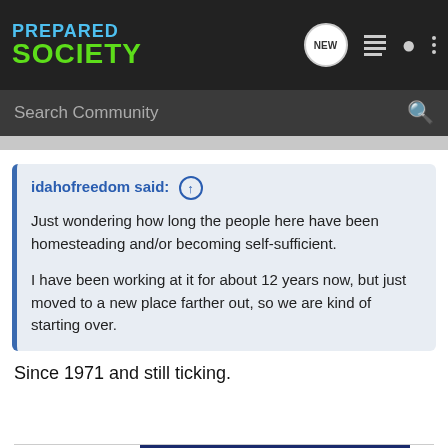Prepared Society
Search Community
idahofreedom said: ↑
Just wondering how long the people here have been homesteading and/or becoming self-sufficient.

I have been working at it for about 12 years now, but just moved to a new place farther out, so we are kind of starting over.
Since 1971 and still ticking.
Mike
"Those w
[Figure (screenshot): Advertisement for Kel-Tec CP33 Pistol: 'Seeking Long Range Relationship' with image of handgun on navy blue background]